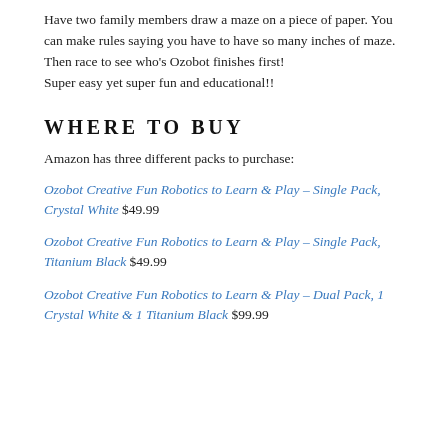Have two family members draw a maze on a piece of paper. You can make rules saying you have to have so many inches of maze.
Then race to see who’s Ozobot finishes first!
Super easy yet super fun and educational!!
WHERE TO BUY
Amazon has three different packs to purchase:
Ozobot Creative Fun Robotics to Learn & Play – Single Pack, Crystal White $49.99
Ozobot Creative Fun Robotics to Learn & Play – Single Pack, Titanium Black $49.99
Ozobot Creative Fun Robotics to Learn & Play – Dual Pack, 1 Crystal White & 1 Titanium Black $99.99